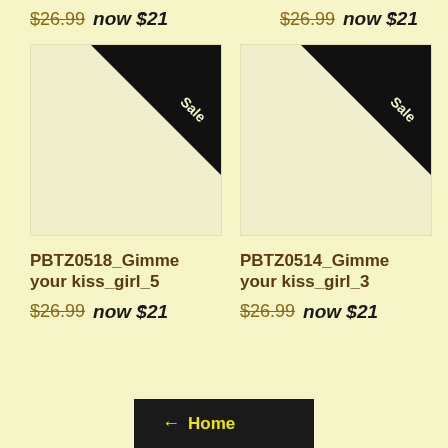$26.99 now $21 | $26.99 now $21
[Figure (photo): Product image placeholder for PBTZ0518_Gimme your kiss_girl_5 with Sale badge triangle in top right corner]
[Figure (photo): Product image placeholder for PBTZ0514_Gimme your kiss_girl_3 with Sale badge triangle in top right corner]
PBTZ0518_Gimme your kiss_girl_5
$26.99 now $21
PBTZ0514_Gimme your kiss_girl_3
$26.99 now $21
← Home